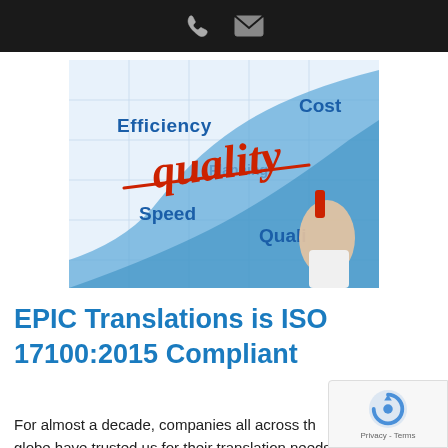[phone icon] [email icon]
[Figure (illustration): Marketing illustration showing a hand writing 'quality' in red cursive script with a red marker over a blue business chart background featuring words: Efficiency, Cost, Speed, Quality, Planning]
EPIC Translations is ISO 17100:2015 Compliant
For almost a decade, companies all across the globe have trusted us for their translation needs